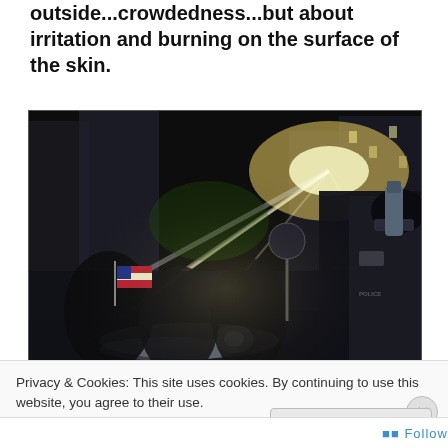outside...crowdedness...but about irritation and burning on the surface of the skin.
[Figure (photo): Night scene of police officers in riot gear spraying pepper spray or mist into a crowd of protesters. Bright light beams visible in the background. Officers hold canisters. An American flag is visible in the crowd.]
Privacy & Cookies: This site uses cookies. By continuing to use this website, you agree to their use.
To find out more, including how to control cookies, see here: Cookie Policy
Close and accept